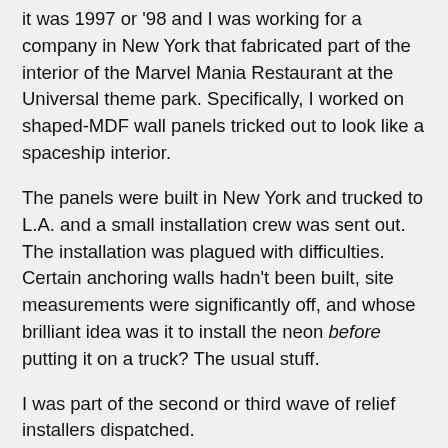it was 1997 or '98 and I was working for a company in New York that fabricated part of the interior of the Marvel Mania Restaurant at the Universal theme park. Specifically, I worked on shaped-MDF wall panels tricked out to look like a spaceship interior.
The panels were built in New York and trucked to L.A. and a small installation crew was sent out. The installation was plagued with difficulties. Certain anchoring walls hadn't been built, site measurements were significantly off, and whose brilliant idea was it to install the neon before putting it on a truck? The usual stuff.
I was part of the second or third wave of relief installers dispatched.
My first day in Los Angeles went kind of like this:
Find my way into the Universal Theme Park and locate Marvel Mania.
Make my way through the under-lit maze as the laser-light